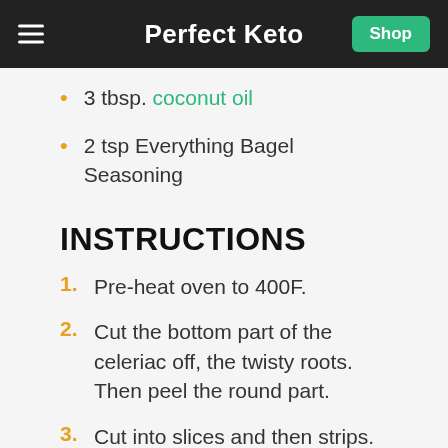Perfect Keto
3 tbsp. coconut oil
2 tsp Everything Bagel Seasoning
INSTRUCTIONS
1. Pre-heat oven to 400F.
2. Cut the bottom part of the celeriac off, the twisty roots. Then peel the round part.
3. Cut into slices and then strips. Soak